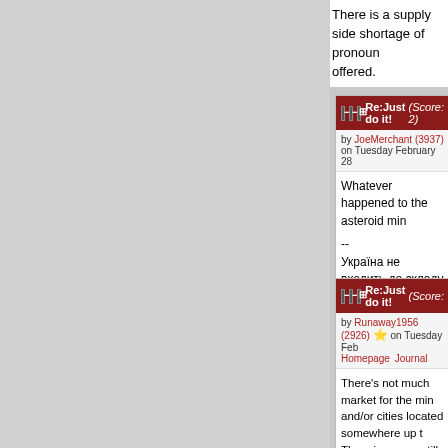There is a supply side shortage of pronouns offered.
Re:Just do it! (Score: 2)
by JoeMerchant (3937) on Tuesday February 28
Whatever happened to the asteroid min
--
Україна не входить до складу Росії.
Parent
Re:Just do it! (Score:
by Runaway1956 (2926) ⭐ on Tuesday Feb Homepage Journal
There's not much market for the min and/or cities located somewhere up t The miners are still needed, but the n sufficient. Someone needs to be willi entertainment, and other essentials going. In my mind, it's pretty well est down the gravity well to the mud dw going to drop stuff down the well, yo spear, and wipe out all the competiti would be a lonely job, almost as lon